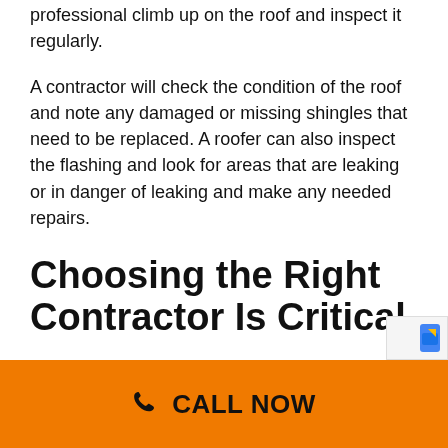professional climb up on the roof and inspect it regularly.
A contractor will check the condition of the roof and note any damaged or missing shingles that need to be replaced. A roofer can also inspect the flashing and look for areas that are leaking or in danger of leaking and make any needed repairs.
Choosing the Right Contractor Is Critical
Hiring a qualified and experienced contractor
CALL NOW